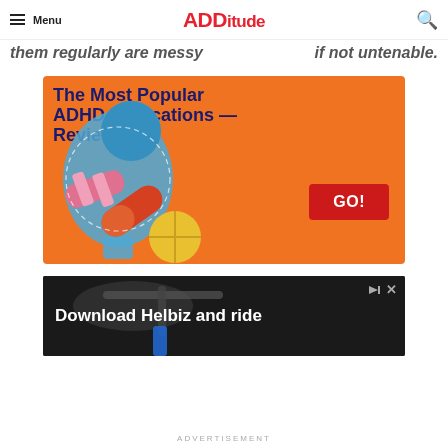Menu | ADDitude
them irregularly are messy — if not untenable.
[Figure (illustration): ADDitude magazine advertisement: orange background with illustrated human head silhouette containing pills (capsule, tablet, band-aid). Text reads 'The Most Popular ADHD Medications —Reviewed!' with a red GO! button.]
[Figure (illustration): Advertisement banner: dark background with bicycle handlebars. Text reads 'Download Helbiz and ride']
ADVERTISEMENT